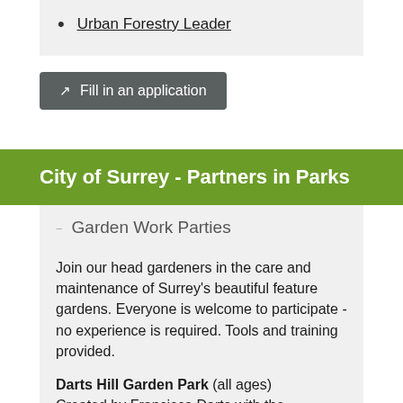Urban Forestry Leader
Fill in an application
City of Surrey - Partners in Parks
Garden Work Parties
Join our head gardeners in the care and maintenance of Surrey's beautiful feature gardens. Everyone is welcome to participate - no experience is required. Tools and training provided.
Darts Hill Garden Park (all ages) Created by Francisca Darts with the dedicated support of her husband